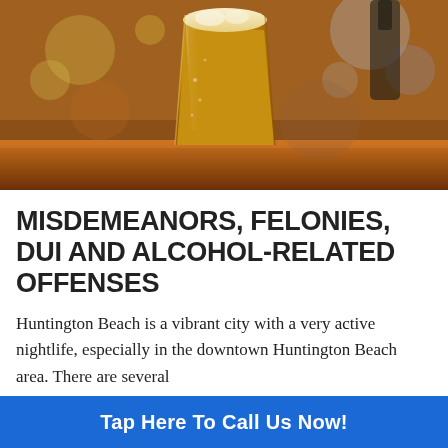[Figure (photo): Close-up photo of a pint glass of beer sitting on a wooden bar counter with a blurred bar background]
MISDEMEANORS, FELONIES, DUI AND ALCOHOL-RELATED OFFENSES
Huntington Beach is a vibrant city with a very active nightlife, especially in the downtown Huntington Beach area. There are several
Tap Here To Call Us Now!